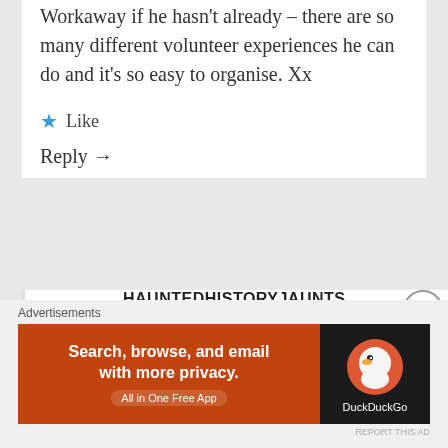Workaway if he hasn't already – there are so many different volunteer experiences he can do and it's so easy to organise. Xx
★ Like
Reply →
HAUNTEDHISTORYJAUNTS
4th Feb 2019 at 8:46 am

Great to know, thank you!!
Advertisements
[Figure (screenshot): DuckDuckGo advertisement banner: orange section with text 'Search, browse, and email with more privacy. All in One Free App', and black section with DuckDuckGo logo.]